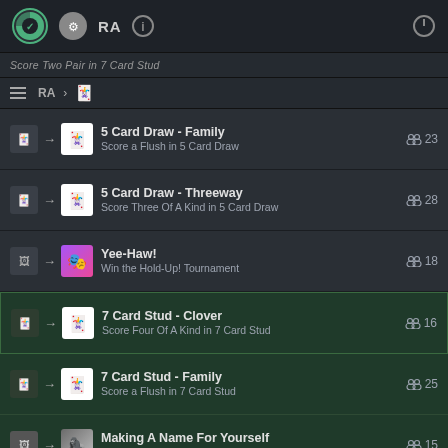Completionist.me achievement tracker header with icons
Score Two Pair in 7 Card Stud (partial, cut off at top)
5 Card Draw - Family | Score a Flush in 5 Card Draw | 23 players
5 Card Draw - Threeway | Score Three Of A Kind in 5 Card Draw | 28 players
Yee-Haw! | Win the Hold-Up! Tournament | 18 players
7 Card Stud - Clover | Score Four Of A Kind in 7 Card Stud | 16 players
7 Card Stud - Family | Score a Flush in 7 Card Stud | 25 players
Making A Name For Yourself | Win the Silver Back Tournament | 15 players
Omaha Hold 'Em - Clover | Score Four Of A Kind in Omaha Hold 'Em | 13 players
© 2022 completionist.me · vDEV · Legal